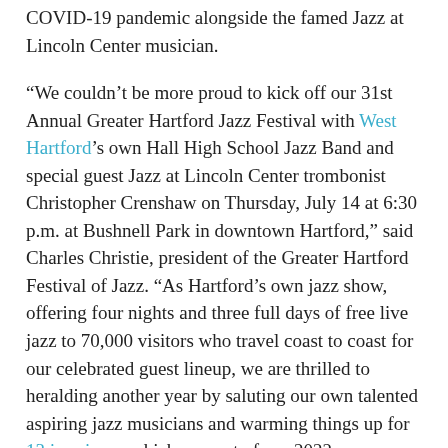COVID-19 pandemic alongside the famed Jazz at Lincoln Center musician.
“We couldn’t be more proud to kick off our 31st Annual Greater Hartford Jazz Festival with West Hartford’s own Hall High School Jazz Band and special guest Jazz at Lincoln Center trombonist Christopher Crenshaw on Thursday, July 14 at 6:30 p.m. at Bushnell Park in downtown Hartford,” said Charles Christie, president of the Greater Hartford Festival of Jazz. “As Hartford’s own jazz show, offering four nights and three full days of free live jazz to 70,000 visitors who travel coast to coast for our celebrated guest lineup, we are thrilled to heralding another year by saluting our own talented aspiring jazz musicians and warming things up for 13 jazz icons which are part of our 2022 programming.
“We have a packed program reflecting all styles and rhythms of jazz, from classical to funk and fusion, with over a dozen performers and beloved bands, from Chembo